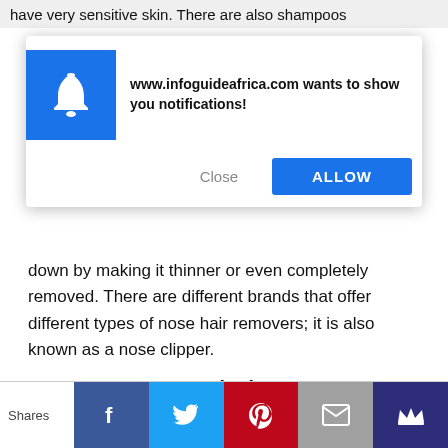have very sensitive skin. There are also shampoos
[Figure (screenshot): Browser notification popup from www.infoguideafrica.com asking to show notifications, with a blue bell icon, 'Close' and 'ALLOW' buttons]
down by making it thinner or even completely removed. There are different brands that offer different types of nose hair removers; it is also known as a nose clipper.
Conclusion
If you are interested in buying some but aren't sure what to buy, consider adding some socks, watches, or belt buckles to your existing collection. These
Shares [Facebook] [Twitter] [Pinterest] [Email] [Crown]